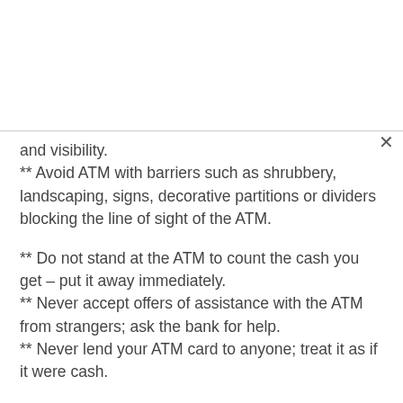and visibility.
** Avoid ATM with barriers such as shrubbery, landscaping, signs, decorative partitions or dividers blocking the line of sight of the ATM.
** Do not stand at the ATM to count the cash you get – put it away immediately.
** Never accept offers of assistance with the ATM from strangers; ask the bank for help.
** Never lend your ATM card to anyone; treat it as if it were cash.
** If the lights around the ATM are not working